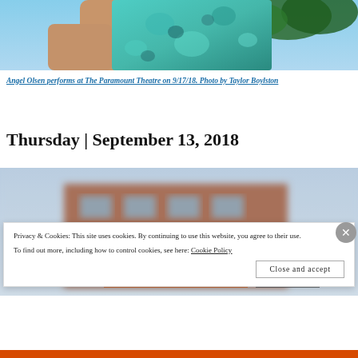[Figure (photo): Person in colorful teal patterned outfit outdoors with trees in background, cropped to show torso and arm raised]
Angel Olsen performs at The Paramount Theatre on 9/17/18. Photo by Taylor Boylston
Thursday | September 13, 2018
[Figure (photo): Blurred outdoor photo showing brick building facade with text partially visible at bottom]
Privacy & Cookies: This site uses cookies. By continuing to use this website, you agree to their use.
To find out more, including how to control cookies, see here: Cookie Policy
Close and accept